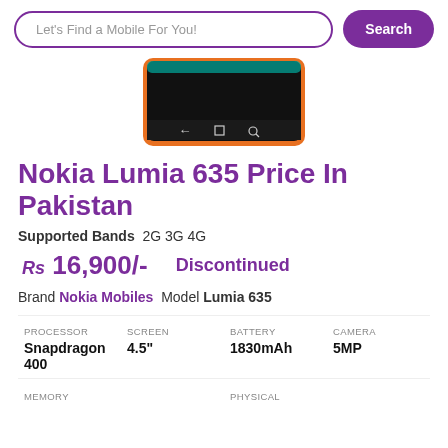Let's Find a Mobile For You! Search
[Figure (photo): Nokia Lumia 635 phone image showing bottom portion with orange border and black screen with navigation buttons]
Nokia Lumia 635 Price In Pakistan
Supported Bands  2G 3G 4G
Rs 16,900/-   Discontinued
Brand Nokia Mobiles Model Lumia 635
| PROCESSOR | SCREEN | BATTERY | CAMERA |
| --- | --- | --- | --- |
| Snapdragon 400 | 4.5" | 1830mAh | 5MP |
MEMORY   PHYSICAL